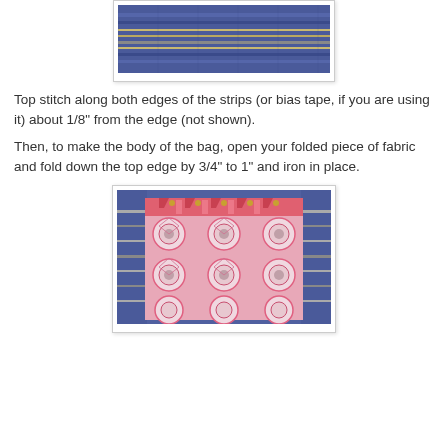[Figure (photo): Top portion of a blue striped fabric with gold/metallic horizontal lines, shown on a sewing surface.]
Top stitch along both edges of the strips (or bias tape, if you are using it) about 1/8" from the edge (not shown).
Then, to make the body of the bag, open your folded piece of fabric and fold down the top edge by 3/4" to 1" and iron in place.
[Figure (photo): Pink and white decorative fabric with geometric sunflower/mandala pattern, folded with a pink and gold trim strip visible at the top, laid on a blue striped background.]